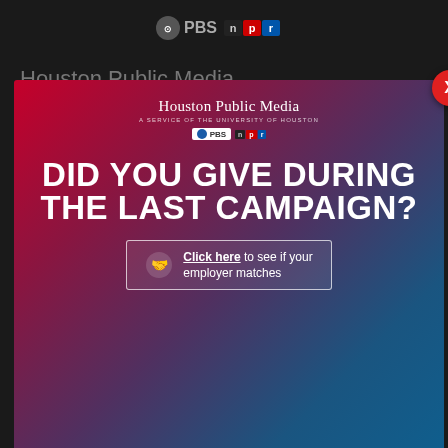[Figure (logo): PBS and NPR logos at top center of dark background website]
Houston Public Media
About
Ca
Co
TV
Ra
Ne
Shows
Compliance
CPB Compliance
[Figure (screenshot): Modal popup overlay for Houston Public Media with gradient red-to-blue background. Shows 'Houston Public Media - A SERVICE OF THE UNIVERSITY OF HOUSTON' with PBS and NPR logos, headline 'DID YOU GIVE DURING THE LAST CAMPAIGN?' and a CTA button 'Click here to see if your employer matches' with a handshake icon. Red X close button in upper right corner.]